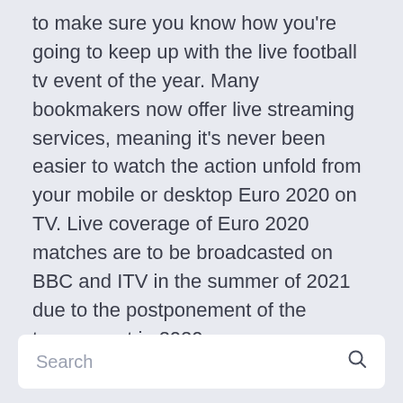to make sure you know how you're going to keep up with the live football tv event of the year. Many bookmakers now offer live streaming services, meaning it's never been easier to watch the action unfold from your mobile or desktop Euro 2020 on TV. Live coverage of Euro 2020 matches are to be broadcasted on BBC and ITV in the summer of 2021 due to the postponement of the tournament in 2020.
Search